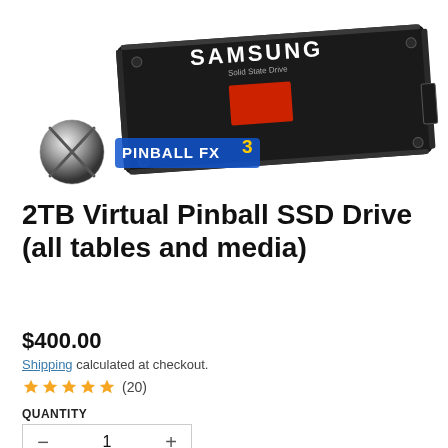[Figure (photo): Samsung Solid State Drive (SSD) product photo with Pinball FX3 logo overlay. Black SSD with red accent label, shown at an angle. A chrome/metal ball icon and Pinball FX3 logo are overlaid in the lower left.]
2TB Virtual Pinball SSD Drive (all tables and media)
$400.00
Shipping calculated at checkout.
★★★★★ (20)
QUANTITY
1